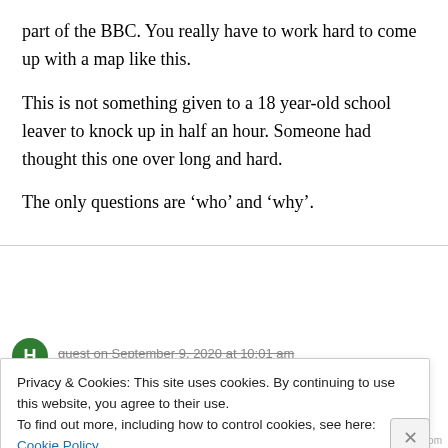part of the BBC. You really have to work hard to come up with a map like this.
This is not something given to a 18 year-old school leaver to knock up in half an hour. Someone had thought this one over long and hard.
The only questions are ‘who’ and ‘why’.
Privacy & Cookies: This site uses cookies. By continuing to use this website, you agree to their use.
To find out more, including how to control cookies, see here: Cookie Policy
Close and accept